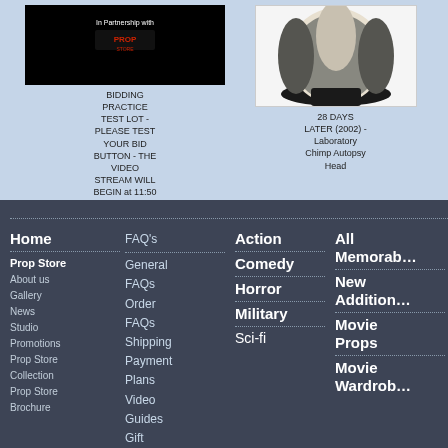[Figure (screenshot): Black video thumbnail for bidding practice test lot]
BIDDING PRACTICE TEST LOT - PLEASE TEST YOUR BID BUTTON - THE VIDEO STREAM WILL BEGIN at 11:50
[Figure (photo): 28 Days Later laboratory chimp autopsy head prop - black furry animal head on dark stand]
28 DAYS LATER (2002) - Laboratory Chimp Autopsy Head
[Figure (screenshot): Partially visible third lot card with red border]
Home
Prop Store
About us
Gallery
News
Studio
Promotions
Prop Store Collection
Prop Store Brochure
FAQ's
General FAQs
Order FAQs
Shipping
Payment Plans
Video Guides
Gift
Action
Comedy
Horror
Military
Sci-fi
All Memorab
New Addition
Movie Props
Movie Wardrob